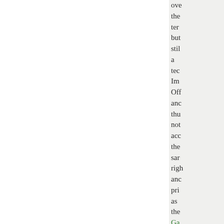ove the ter but stil a tec Imp Off and thu not acc the sam righ and pri as the Ga Pe Dir abo Pla